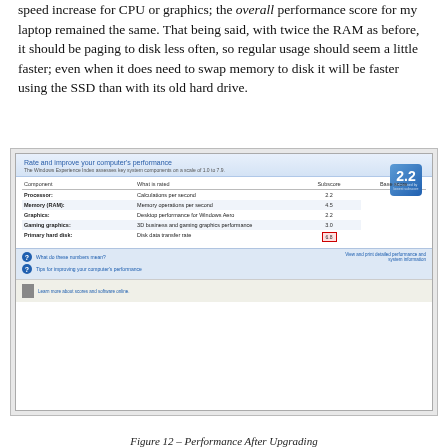speed increase for CPU or graphics; the overall performance score for my laptop remained the same. That being said, with twice the RAM as before, it should be paging to disk less often, so regular usage should seem a little faster; even when it does need to swap memory to disk it will be faster using the SSD than with its old hard drive.
[Figure (screenshot): Windows Experience Index screenshot showing component scores: Processor 2.2, Memory (RAM) 4.5, Graphics 2.2, Gaming graphics 3.0, Primary hard disk 6.8 (highlighted in red). Base score 2.2 shown in blue badge. Footer links for help and more information.]
Figure 12 – Performance After Upgrading